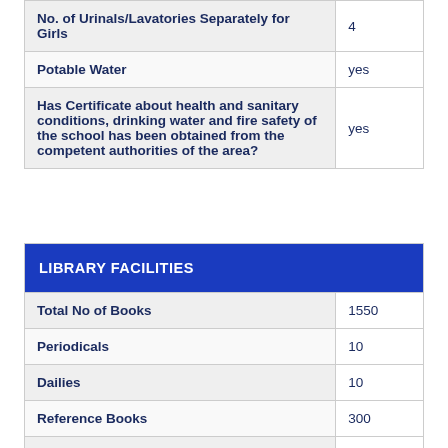| Field | Value |
| --- | --- |
| No. of Urinals/Lavatories Separately for Girls | 4 |
| Potable Water | yes |
| Has Certificate about health and sanitary conditions, drinking water and fire safety of the school has been obtained from the competent authorities of the area? | yes |
| LIBRARY FACILITIES |  |
| --- | --- |
| Total No of Books | 1550 |
| Periodicals | 10 |
| Dailies | 10 |
| Reference Books | 300 |
| Magazine | 12 |